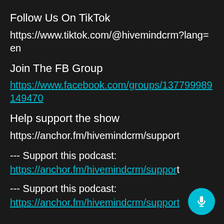Follow Us On TikTok
https://www.tiktok.com/@hivemindcrm?lang=en
Join The FB Group
https://www.facebook.com/groups/137799989149470
Help support the show
https://anchor.fm/hivemindcrm/support
--- Support this podcast:
https://anchor.fm/hivemindcrm/support
--- Support this podcast:
https://anchor.fm/hivemindcrm/support